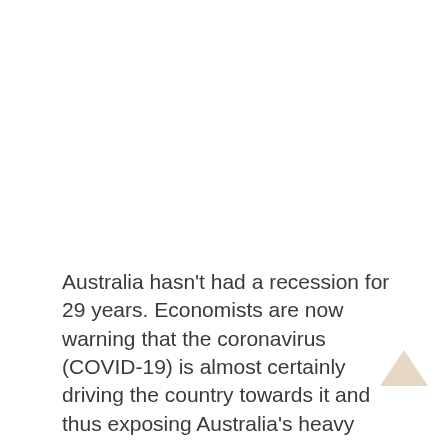Australia hasn't had a recession for 29 years. Economists are now warning that the coronavirus (COVID-19) is almost certainly driving the country towards it and thus exposing Australia's heavy